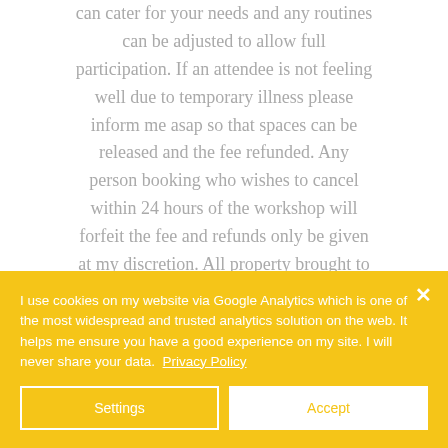can cater for your needs and any routines can be adjusted to allow full participation. If an attendee is not feeling well due to temporary illness please inform me asap so that spaces can be released and the fee refunded. Any person booking who wishes to cancel within 24 hours of the workshop will forfeit the fee and refunds only be given at my discretion. All property brought to the workshop is the full
I use cookies on my website via Google Analytics which is one of the most widespread and trusted analytics solution on the web. It helps me ensure you have a good experience on my site. I will never share your data. Privacy Policy